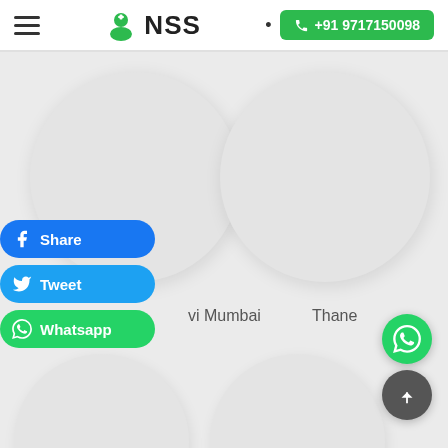NSS | +91 9717150098
[Figure (screenshot): Two circular city thumbnail cards at top: Navi Mumbai (left) and Thane (right), with social share overlay buttons (Facebook Share, Tweet, Whatsapp). Two more circular city cards partially visible at bottom. WhatsApp floating button and scroll-to-top button in bottom-right corner.]